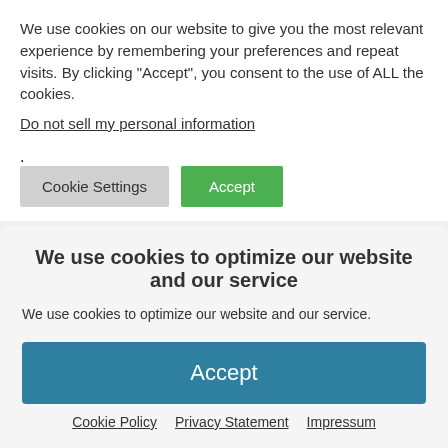We use cookies on our website to give you the most relevant experience by remembering your preferences and repeat visits. By clicking “Accept”, you consent to the use of ALL the cookies.
Do not sell my personal information.
Cookie Settings
Accept
added content rather than a strange or
We use cookies to optimize our website and our service
We use cookies to optimize our website and our service.
Accept
Cookie Policy   Privacy Statement   Impressum